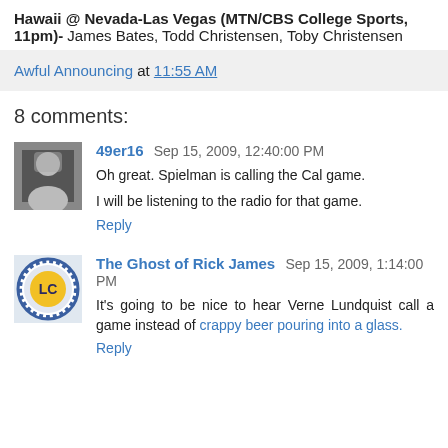Hawaii @ Nevada-Las Vegas (MTN/CBS College Sports, 11pm)- James Bates, Todd Christensen, Toby Christensen
Awful Announcing at 11:55 AM
8 comments:
49er16 Sep 15, 2009, 12:40:00 PM
Oh great. Spielman is calling the Cal game.
I will be listening to the radio for that game.
Reply
The Ghost of Rick James Sep 15, 2009, 1:14:00 PM
It's going to be nice to hear Verne Lundquist call a game instead of crappy beer pouring into a glass.
Reply